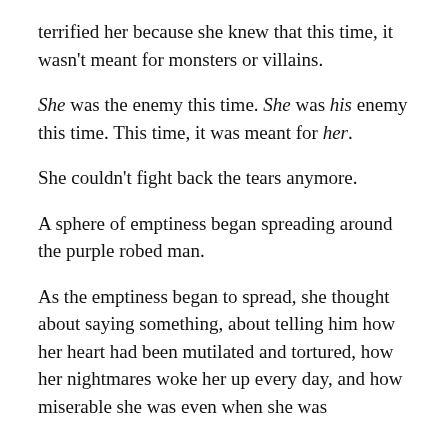terrified her because she knew that this time, it wasn't meant for monsters or villains.
She was the enemy this time. She was his enemy this time. This time, it was meant for her.
She couldn't fight back the tears anymore.
A sphere of emptiness began spreading around the purple robed man.
As the emptiness began to spread, she thought about saying something, about telling him how her heart had been mutilated and tortured, how her nightmares woke her up every day, and how miserable she was even when she was